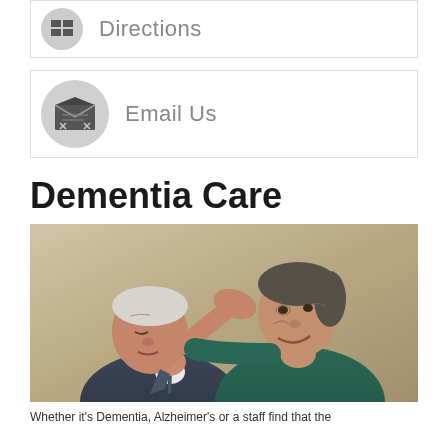[Figure (illustration): Directions button with grid/map icon in gray circle]
[Figure (illustration): Email Us button with envelope icon in gray circle]
Dementia Care
[Figure (photo): Elderly couple, man and woman, leaning their heads together and smiling warmly]
Whether it's Dementia, Alzheimer's or a staff find that the